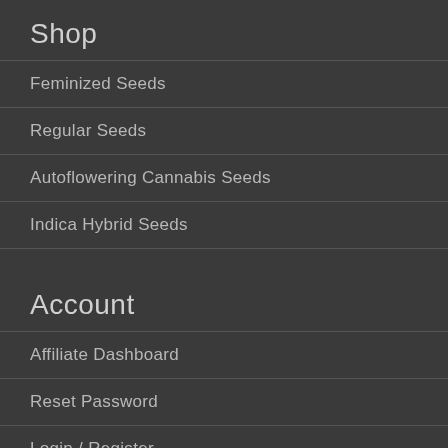Shop
Feminized Seeds
Regular Seeds
Autoflowering Cannabis Seeds
Indica Hybrid Seeds
Account
Affiliate Dashboard
Reset Password
Login / Register
Grow Tips